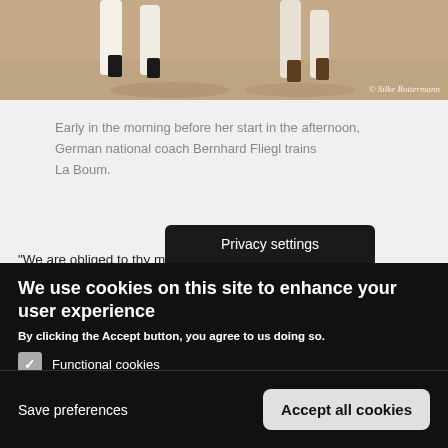[Figure (photo): Partial photo of horse legs on sandy/dirt ground, with copyright watermark '© Silke Rottermann']
Early in the morning before her start in the afternoon, German national coach Bernhard Fliegl trains La Boum.
"We are obliged to th... y much that they
Privacy settings
We use cookies on this site to enhance your user experience
By clicking the Accept button, you agree to us doing so.
Functional cookies
Required cookies for technical purpose.
Analytical cookies
We use Google Analytics on our website.
Save preferences
Accept all cookies